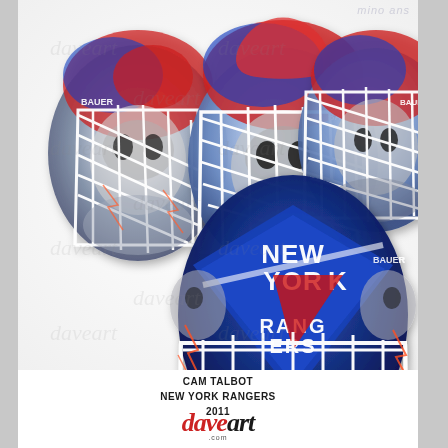[Figure (photo): Three views of a custom painted goalie mask for Cam Talbot of the New York Rangers 2011. The mask features red, blue, silver and white airbrushed artwork including skulls, machinery, and the New York Rangers logo prominently on one view.]
CAM TALBOT
NEW YORK RANGERS
2011
daveart